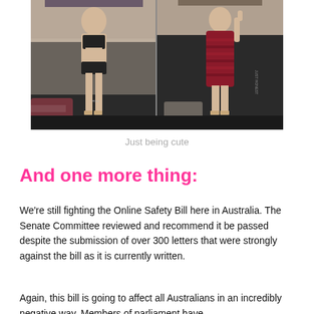[Figure (photo): Two photos side by side in a changing room: left photo shows a person in black lingerie/bikini, right photo shows a person in a red dress, both taking mirror selfies.]
Just being cute
And one more thing:
We're still fighting the Online Safety Bill here in Australia. The Senate Committee reviewed and recommend it be passed despite the submission of over 300 letters that were strongly against the bill as it is currently written.
Again, this bill is going to affect all Australians in an incredibly negative way. Members of parliament have